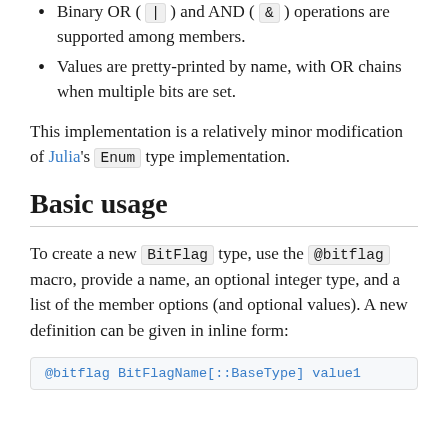Binary OR ( | ) and AND ( & ) operations are supported among members.
Values are pretty-printed by name, with OR chains when multiple bits are set.
This implementation is a relatively minor modification of Julia's Enum type implementation.
Basic usage
To create a new BitFlag type, use the @bitflag macro, provide a name, an optional integer type, and a list of the member options (and optional values). A new definition can be given in inline form:
@bitflag BitFlagName[::BaseType] value1